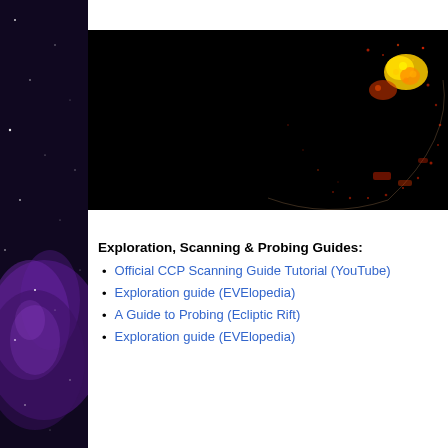[Figure (photo): Space/nebula scene with purple and dark blue tones forming a decorative sidebar on the left side of the page]
[Figure (screenshot): Game screenshot showing a dark starfield with a curved arc/ring of red dots and a cluster of yellow and orange points in the upper right, appearing to be a scanning or map view from EVE Online]
Exploration, Scanning & Probing Guides:
Official CCP Scanning Guide Tutorial (YouTube)
Exploration guide (EVElopedia)
A Guide to Probing (Ecliptic Rift)
Exploration guide (EVElopedia)